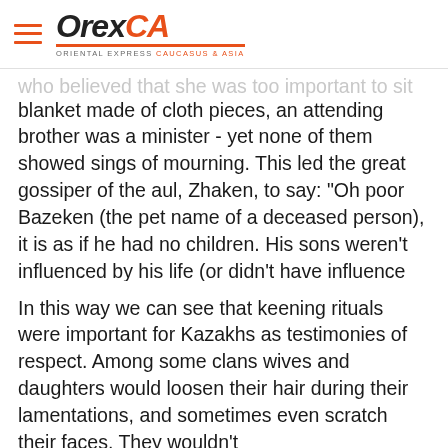OrexCA - ORIENTAL EXPRESS CAUCASUS & ASIA
who believed that she was too important to sit on a blanket made of cloth pieces, an attending brother was a minister - yet none of them showed sings of mourning. This led the great gossiper of the aul, Zhaken, to say: "Oh poor Bazeken (the pet name of a deceased person), it is as if he had no children. His sons weren't influenced by his life (or didn't have influence on their wives?). You know, Bazeken spent all his life grazing sheep in inclement weather in order to pay for their education and to support them - all to no avail."
In this way we can see that keening rituals were important for Kazakhs as testimonies of respect. Among some clans wives and daughters would loosen their hair during their lamentations, and sometimes even scratch their faces. They wouldn't